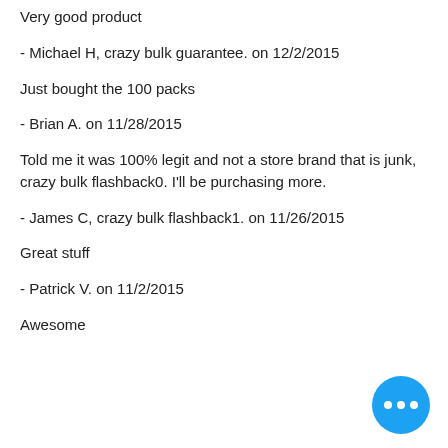Very good product
- Michael H, crazy bulk guarantee. on 12/2/2015
Just bought the 100 packs
- Brian A. on 11/28/2015
Told me it was 100% legit and not a store brand that is junk, crazy bulk flashback0. I'll be purchasing more.
- James C, crazy bulk flashback1. on 11/26/2015
Great stuff
- Patrick V. on 11/2/2015
Awesome